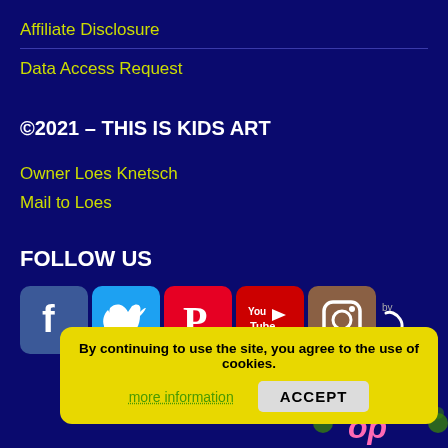Affiliate Disclosure
Data Access Request
©2021 – THIS IS KIDS ART
Owner Loes Knetsch
Mail to Loes
FOLLOW US
[Figure (logo): Social media icons: Facebook, Twitter, Pinterest, YouTube, Instagram with 'by' swoosh]
By continuing to use the site, you agree to the use of cookies.
more information
ACCEPT